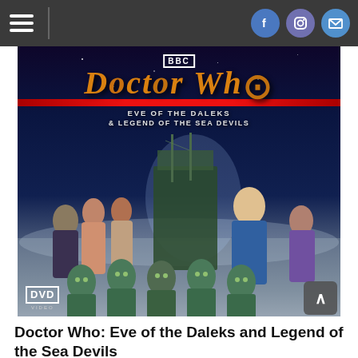[Figure (photo): Doctor Who: Eve of the Daleks & Legend of the Sea Devils DVD cover. Features BBC logo at top, Doctor Who title in orange, subtitle text, and characters including the Thirteenth Doctor (blonde woman), two companions, historical figures, Sea Devils creatures, and a pirate ship in a space/ocean background.]
Doctor Who: Eve of the Daleks and Legend of the Sea Devils